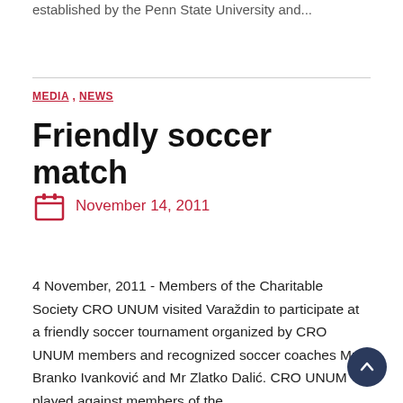established by the Penn State University and...
MEDIA , NEWS
Friendly soccer match
November 14, 2011
4 November, 2011 - Members of the Charitable Society CRO UNUM visited Varaždin to participate at a friendly soccer tournament organized by CRO UNUM members and recognized soccer coaches Mr Branko Ivanković and Mr Zlatko Dalić. CRO UNUM played against members of the